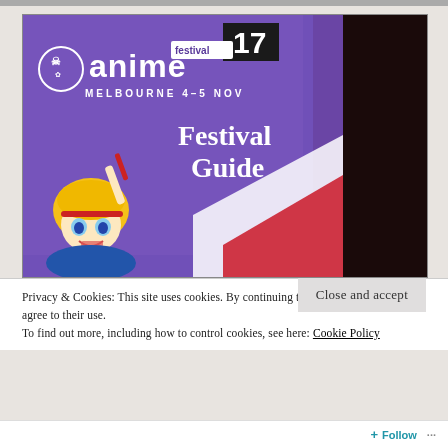[Figure (photo): Photo of an Anime Festival Melbourne booklet/guide. Purple background with anime character (blonde girl with big eyes and red headband). Text shows 'anime festival' logo with number 17, 'MELBOURNE 4-5 NOV', and 'Festival Guide' in large white text.]
Privacy & Cookies: This site uses cookies. By continuing to use this website, you agree to their use.
To find out more, including how to control cookies, see here: Cookie Policy
Close and accept
Follow